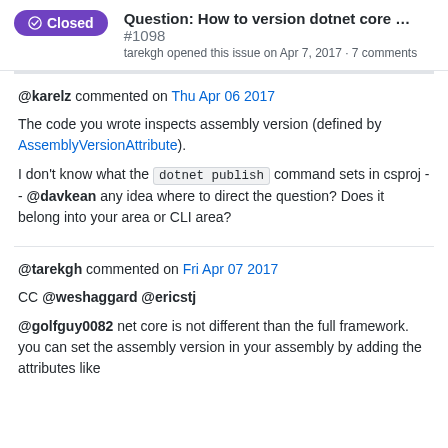Question: How to version dotnet core … #1098
tarekgh opened this issue on Apr 7, 2017 · 7 comments
@karelz commented on Thu Apr 06 2017
The code you wrote inspects assembly version (defined by AssemblyVersionAttribute).
I don't know what the dotnet publish command sets in csproj -- @davkean any idea where to direct the question? Does it belong into your area or CLI area?
@tarekgh commented on Fri Apr 07 2017
CC @weshaggard @ericstj
@golfguy0082 net core is not different than the full framework. you can set the assembly version in your assembly by adding the attributes like